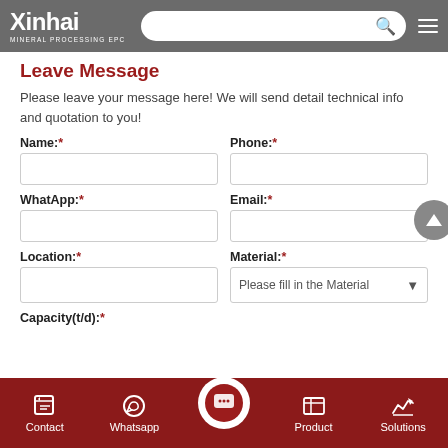Xinhai MINERAL PROCESSING EPC
Leave Message
Please leave your message here! We will send detail technical info and quotation to you!
Name:* Phone:* WhatApp:* Email:* Location:* Material:* Capacity(t/d):*
Contact Whatsapp Product Solutions